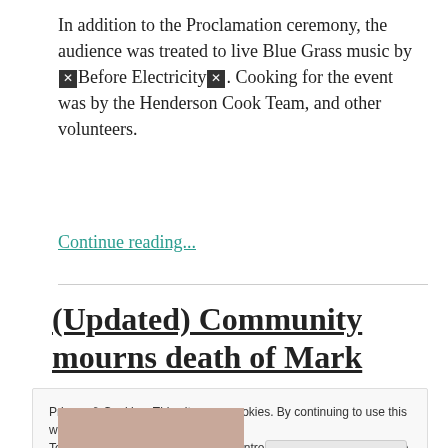In addition to the Proclamation ceremony, the audience was treated to live Blue Grass music by ☒Before Electricity☒. Cooking for the event was by the Henderson Cook Team, and other volunteers.
Continue reading...
(Updated) Community mourns death of Mark
Privacy & Cookies: This site uses cookies. By continuing to use this website, you agree to their use.
To find out more, including how to control cookies, see here: Cookie Policy
Close and accept
[Figure (photo): Partial photo strip visible at bottom left]